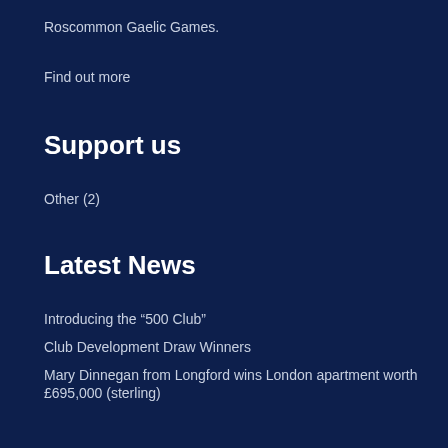Roscommon Gaelic Games.
Find out more
Support us
Other (2)
Latest News
Introducing the “500 Club”
Club Development Draw Winners
Mary Dinnegan from Longford wins London apartment worth £695,000 (sterling)